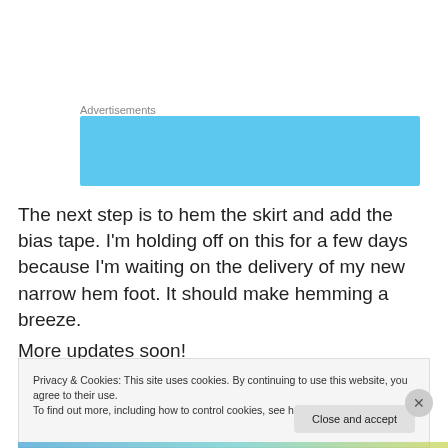Advertisements
[Figure (other): Blue advertisement banner placeholder]
The next step is to hem the skirt and add the bias tape. I'm holding off on this for a few days because I'm waiting on the delivery of my new narrow hem foot. It should make hemming a breeze.
More updates soon!
Privacy & Cookies: This site uses cookies. By continuing to use this website, you agree to their use.
To find out more, including how to control cookies, see here: Cookie Policy